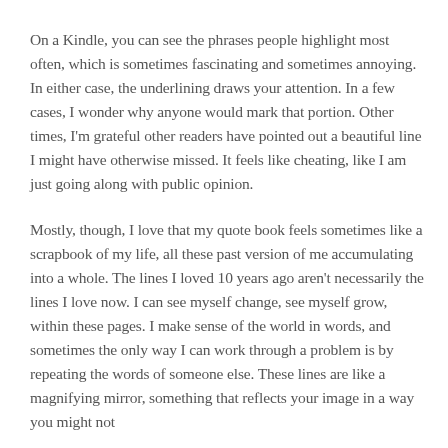On a Kindle, you can see the phrases people highlight most often, which is sometimes fascinating and sometimes annoying. In either case, the underlining draws your attention. In a few cases, I wonder why anyone would mark that portion. Other times, I'm grateful other readers have pointed out a beautiful line I might have otherwise missed. It feels like cheating, like I am just going along with public opinion.
Mostly, though, I love that my quote book feels sometimes like a scrapbook of my life, all these past version of me accumulating into a whole. The lines I loved 10 years ago aren't necessarily the lines I love now. I can see myself change, see myself grow, within these pages. I make sense of the world in words, and sometimes the only way I can work through a problem is by repeating the words of someone else. These lines are like a magnifying mirror, something that reflects your image in a way you might not